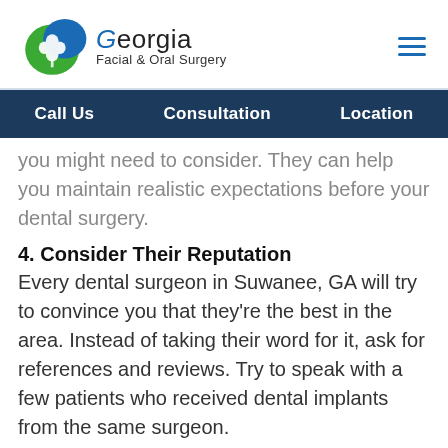[Figure (logo): Georgia Facial & Oral Surgery logo with blue and green circular emblem and text]
Call Us   Consultation   Location
you might need to consider. They can help you maintain realistic expectations before your dental surgery.
4. Consider Their Reputation
Every dental surgeon in Suwanee, GA will try to convince you that they're the best in the area. Instead of taking their word for it, ask for references and reviews. Try to speak with a few patients who received dental implants from the same surgeon.